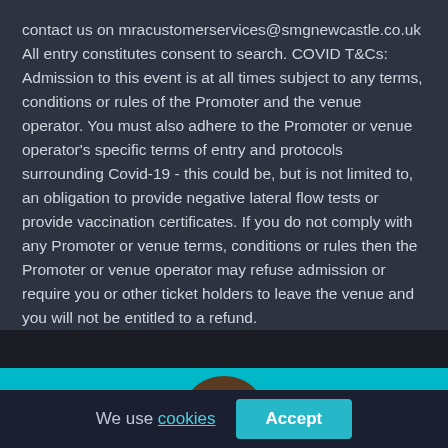contact us on mracustomerservices@smgnewcastle.co.uk All entry constitutes consent to search. COVID T&Cs: Admission to this event is at all times subject to any terms, conditions or rules of the Promoter and the venue operator. You must also adhere to the Promoter or venue operator's specific terms of entry and protocols surrounding Covid-19 - this could be, but is not limited to, an obligation to provide negative lateral flow tests or provide vaccination certificates. If you do not comply with any Promoter or venue terms, conditions or rules then the Promoter or venue operator may refuse admission or require you or other ticket holders to leave the venue and you will not be entitled to a refund.
[Figure (photo): Cyan/teal banner at the bottom of the page with the top of a person's head visible]
We use cookies
Accept